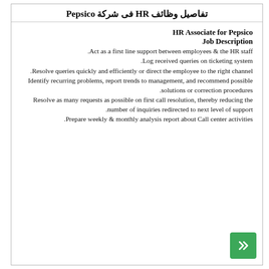تفاصيل وظائف HR فى شركة Pepsico
HR Associate for Pepsico
Job Description
Act as a first line support between employees & the HR staff.
Log received queries on ticketing system.
Resolve queries quickly and efficiently or direct the employee to the right channel.
Identify recurring problems, report trends to management, and recommend possible solutions or correction procedures.
Resolve as many requests as possible on first call resolution, thereby reducing the number of inquiries redirected to next level of support.
Prepare weekly & monthly analysis report about Call center activities.